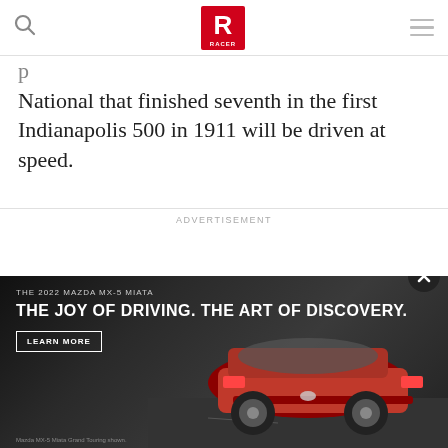RACER
National that finished seventh in the first Indianapolis 500 in 1911 will be driven at speed.
ADVERTISEMENT
[Figure (photo): Mazda MX-5 Miata advertisement banner. Dark background with red Mazda MX-5 Miata convertible seen from rear three-quarter angle on a road. Text reads: THE 2022 MAZDA MX-5 MIATA / THE JOY OF DRIVING. THE ART OF DISCOVERY. with a LEARN MORE button. Footnote: Mazda MX-5 Miata Grand Touring shown.]